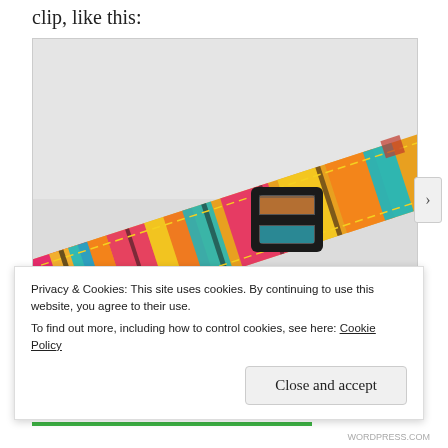clip, like this:
[Figure (photo): A colorful patterned fabric belt or collar with a black rectangular clip/buckle, photographed against a light gray background.]
Privacy & Cookies: This site uses cookies. By continuing to use this website, you agree to their use.
To find out more, including how to control cookies, see here: Cookie Policy
Close and accept